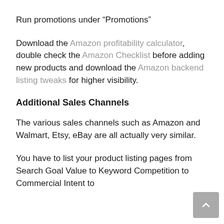Run promotions under “Promotions”
Download the Amazon profitability calculator, double check the Amazon Checklist before adding new products and download the Amazon backend listing tweaks for higher visibility.
Additional Sales Channels
The various sales channels such as Amazon and Walmart, Etsy, eBay are all actually very similar.
You have to list your product listing pages from Search Goal Value to Keyword Competition to Commercial Intent to